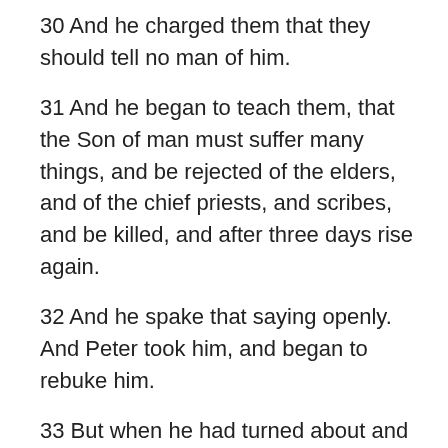30 And he charged them that they should tell no man of him.
31 And he began to teach them, that the Son of man must suffer many things, and be rejected of the elders, and of the chief priests, and scribes, and be killed, and after three days rise again.
32 And he spake that saying openly. And Peter took him, and began to rebuke him.
33 But when he had turned about and looked on his disciples, he rebuked Peter, saying, Get thee behind me, Satan: for thou savourest not the things that be of God, but the things that be of men.
34 And when he had called the people unto him with his disciples also, he said unto them, Whosoever will come